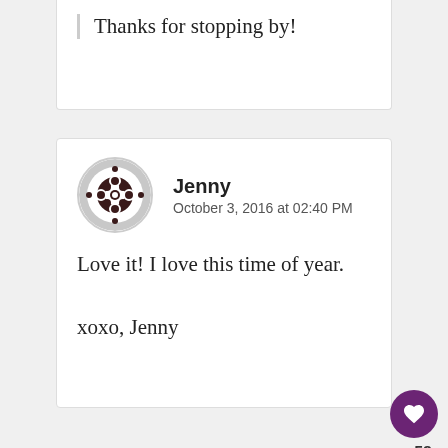Thanks for stopping by!
Jenny
October 3, 2016 at 02:40 PM
Love it! I love this time of year.

xoxo, Jenny
HollyAllie Noah
October 3, 2016 at 09:15 PM